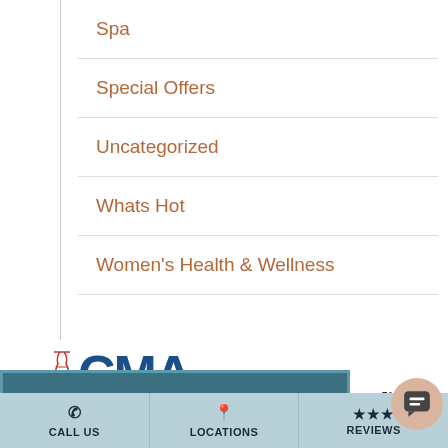Spa
Special Offers
Uncategorized
Whats Hot
Women's Health & Wellness
[Figure (logo): California Medical Association (CMA) logo with stylized text and medical symbol]
[Figure (logo): The California Society of Facial Plastic Surgery banner logo (teal background, white text)]
[Figure (logo): Facial Plastic Surgery association logo (partial, white background)]
CALL US | LOCATIONS | REVIEWS